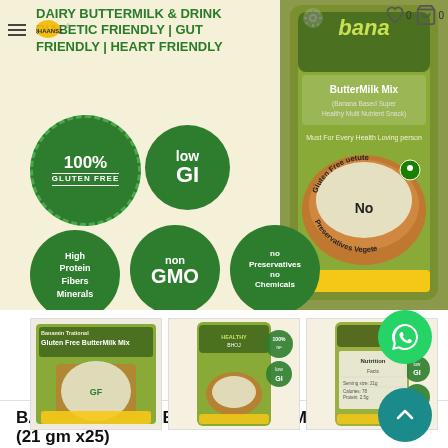[Figure (photo): Product marketing banner showing BANAMIN HealthyBhoj ButterMilk Mix with green circles highlighting: 100% Gluten Free, Low GI, High Protein Fibers Minerals, Non GMO, No Preservatives No Chemicals. Right side shows product packaging image with 'Gluten Free No Preservatives Vegetarian' text. Background is cream/yellow.]
DAIRY BUTTERMILK & DRINK
DIABETIC FRIENDLY | GUT FRIENDLY | HEART FRIENDLY
[Figure (photo): Three thumbnail images of the product packaging - front view with Gluten Free ButterMilk Mix label, side/angle view, and back of package with nutrition info.]
BANAMIN HealthyBhoj ButterMilk Mix (21 gm x25)